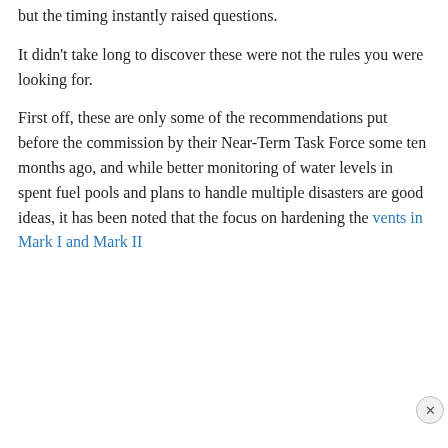but the timing instantly raised questions.
It didn't take long to discover these were not the rules you were looking for.
First off, these are only some of the recommendations put before the commission by their Near-Term Task Force some ten months ago, and while better monitoring of water levels in spent fuel pools and plans to handle multiple disasters are good ideas, it has been noted that the focus on hardening the vents in Mark I and Mark II
Privacy & Cookies: This site uses cookies. By continuing to use this website, you agree to their use.
To find out more, including how to control cookies, see here: Cookie Policy
Close and accept